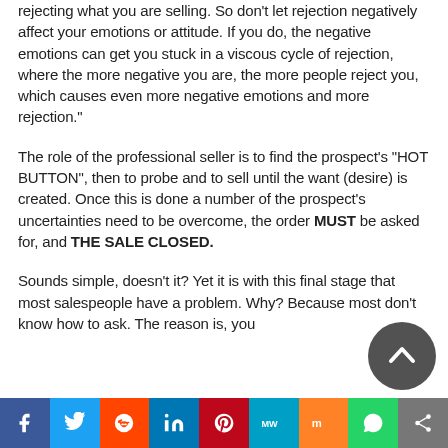rejecting what you are selling. So don't let rejection negatively affect your emotions or attitude. If you do, the negative emotions can get you stuck in a viscous cycle of rejection, where the more negative you are, the more people reject you, which causes even more negative emotions and more rejection."
The role of the professional seller is to find the prospect's "HOT BUTTON", then to probe and to sell until the want (desire) is created. Once this is done a number of the prospect's uncertainties need to be overcome, the order MUST be asked for, and THE SALE CLOSED.
Sounds simple, doesn't it? Yet it is with this final stage that most salespeople have a problem. Why? Because most don't know how to ask. The reason is, you
Social share bar: Facebook, Twitter, Reddit, LinkedIn, Pinterest, MixedVibes, Mix, WhatsApp, More